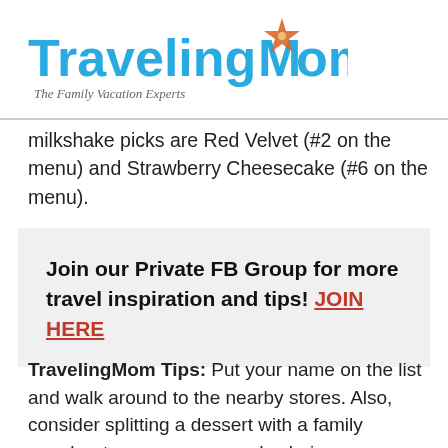[Figure (logo): TravelingMom logo with blue text, orange compass star, and italic tagline 'The Family Vacation Experts']
milkshake picks are Red Velvet (#2 on the menu) and Strawberry Cheesecake (#6 on the menu).
Join our Private FB Group for more travel inspiration and tips! JOIN HERE
TravelingMom Tips: Put your name on the list and walk around to the nearby stores. Also, consider splitting a dessert with a family member to save money and calories.